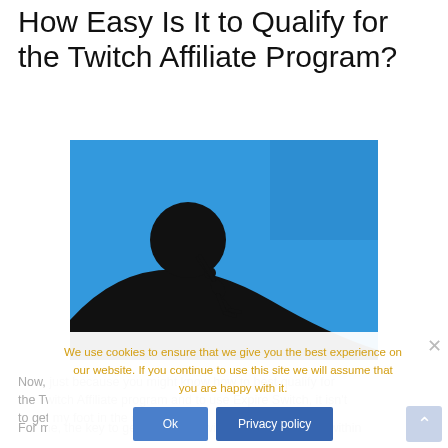How Easy Is It to Qualify for the Twitch Affiliate Program?
[Figure (photo): Silhouette of a person pushing a large boulder up a steep hill against a bright blue sky background — representing difficulty or effort.]
Now, just because you might know how to best qualify for the Twitch Affiliate program and to use Expire Switch, it isn't to get my foot in the door.
We use cookies to ensure that we give you the best experience on our website. If you continue to use this site we will assume that you are happy with it.
For me, the key to getting in the Twitch Affiliate program within